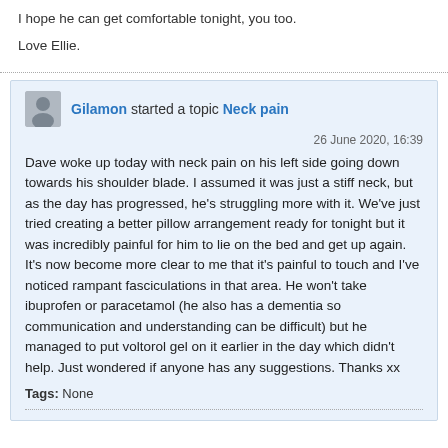I hope he can get comfortable tonight, you too.
Love Ellie.
Gilamon started a topic Neck pain
26 June 2020, 16:39
Dave woke up today with neck pain on his left side going down towards his shoulder blade. I assumed it was just a stiff neck, but as the day has progressed, he's struggling more with it. We've just tried creating a better pillow arrangement ready for tonight but it was incredibly painful for him to lie on the bed and get up again. It's now become more clear to me that it's painful to touch and I've noticed rampant fasciculations in that area. He won't take ibuprofen or paracetamol (he also has a dementia so communication and understanding can be difficult) but he managed to put voltorol gel on it earlier in the day which didn't help. Just wondered if anyone has any suggestions. Thanks xx
Tags: None